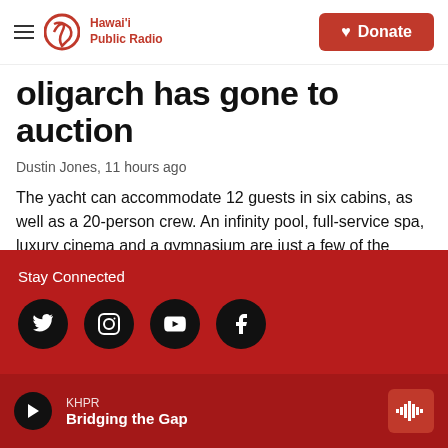Hawai'i Public Radio — Donate
oligarch has gone to auction
Dustin Jones, 11 hours ago
The yacht can accommodate 12 guests in six cabins, as well as a 20-person crew. An infinity pool, full-service spa, luxury cinema and a gymnasium are just a few of the vessel's luxuries.
Stay Connected — Twitter, Instagram, YouTube, Facebook — KHPR Bridging the Gap